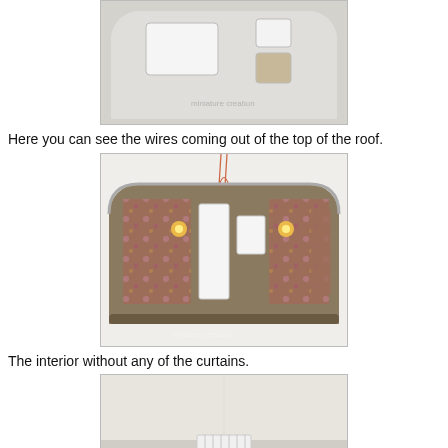[Figure (photo): Top view of a miniature airstream/trailer model showing the exterior roof with cutouts for windows and door, light gray/white color, partially cropped at top.]
Here you can see the wires coming out of the top of the roof.
[Figure (photo): Interior view of a miniature airstream trailer with floral wallpaper/fabric lining the walls, two white rectangular door/window cutouts in center, and small glowing lights visible inside, wires coming out of top.]
The interior without any of the curtains.
[Figure (photo): Interior view of the miniature trailer without curtains, showing light beige/cream walls and a small white rectangular piece in the center on the floor.]